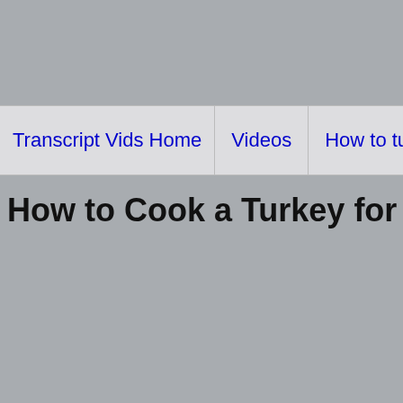Transcript Vids Home | Videos | How to turn on subtitles? | Ab...
How to Cook a Turkey for a Delicious Than...